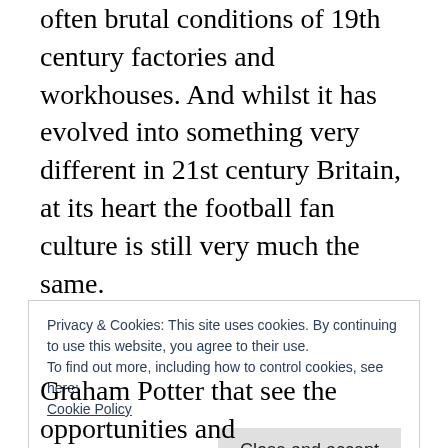often brutal conditions of 19th century factories and workhouses. And whilst it has evolved into something very different in 21st century Britain, at its heart the football fan culture is still very much the same.
But unfortunately with social media saving and displaying users' thoughts for all eternity, our ignorance is there for all to see, maybe this is why experts like Michael Cox have become as prominent as they have? To educate us to
Privacy & Cookies: This site uses cookies. By continuing to use this website, you agree to their use.
To find out more, including how to control cookies, see here:
Cookie Policy
Close and accept
Graham Potter that see the opportunities and